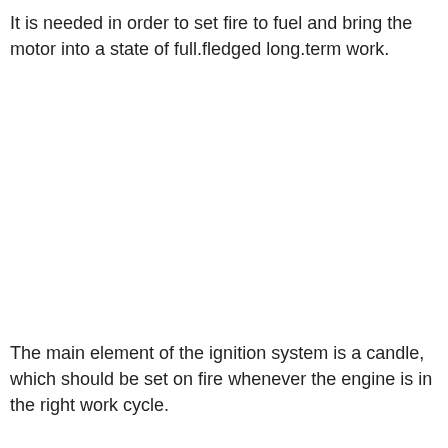It is needed in order to set fire to fuel and bring the motor into a state of full.fledged long.term work.
The main element of the ignition system is a candle, which should be set on fire whenever the engine is in the right work cycle.